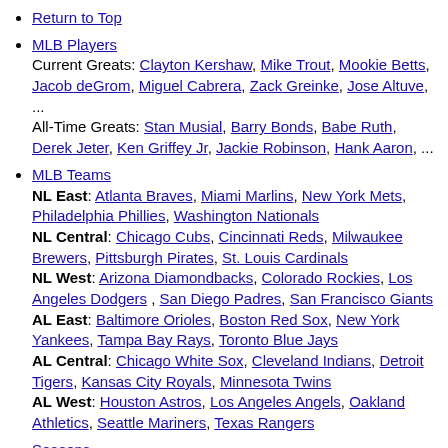Return to Top
MLB Players
Current Greats: Clayton Kershaw, Mike Trout, Mookie Betts, Jacob deGrom, Miguel Cabrera, Zack Greinke, Jose Altuve, ...
All-Time Greats: Stan Musial, Barry Bonds, Babe Ruth, Derek Jeter, Ken Griffey Jr, Jackie Robinson, Hank Aaron, ...
MLB Teams
NL East: Atlanta Braves, Miami Marlins, New York Mets, Philadelphia Phillies, Washington Nationals
NL Central: Chicago Cubs, Cincinnati Reds, Milwaukee Brewers, Pittsburgh Pirates, St. Louis Cardinals
NL West: Arizona Diamondbacks, Colorado Rockies, Los Angeles Dodgers, San Diego Padres, San Francisco Giants
AL East: Baltimore Orioles, Boston Red Sox, New York Yankees, Tampa Bay Rays, Toronto Blue Jays
AL Central: Chicago White Sox, Cleveland Indians, Detroit Tigers, Kansas City Royals, Minnesota Twins
AL West: Houston Astros, Los Angeles Angels, Oakland Athletics, Seattle Mariners, Texas Rangers
Seasons
2020, 2019, 2020 MLB Pitching, 2020 MLB Batting, 2020 MLB Standings, 2020 MLB Attendance, 2020 MLB...